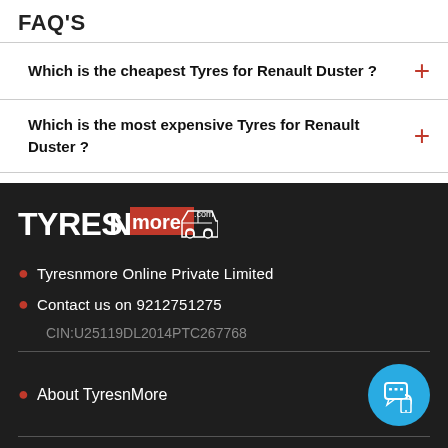FAQ'S
Which is the cheapest Tyres for Renault Duster ?
Which is the most expensive Tyres for Renault Duster ?
[Figure (logo): TyresnMore logo with white TYRESN text and red/white 'more.com' text with a van icon on dark background]
Tyresnmore Online Private Limited
Contact us on 9212751275
CIN:U25119DL2014PTC267768
About TyresnMore
Tyresnmore Online pvt. Ltd. reserves the right to ask for partial or full